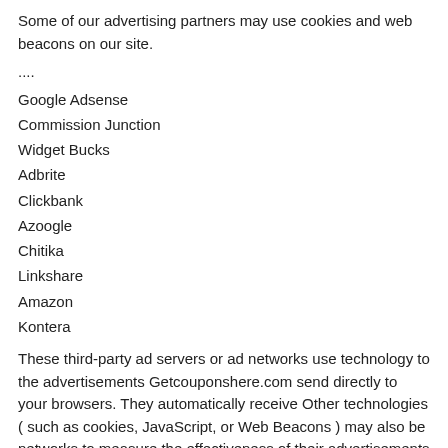Some of our advertising partners may use cookies and web beacons on our site.
....
Google Adsense
Commission Junction
Widget Bucks
Adbrite
Clickbank
Azoogle
Chitika
Linkshare
Amazon
Kontera
These third-party ad servers or ad networks use technology to the advertisements Getcouponshere.com send directly to your browsers. They automatically receive Other technologies ( such as cookies, JavaScript, or Web Beacons ) may also be networks to measure the effectiveness of their advertisements and / or to persona you see.
Getcouponshere.com has no access to or control over these cookies that are use